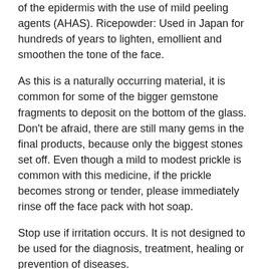of the epidermis with the use of mild peeling agents (AHAS). Ricepowder: Used in Japan for hundreds of years to lighten, emollient and smoothen the tone of the face.
As this is a naturally occurring material, it is common for some of the bigger gemstone fragments to deposit on the bottom of the glass. Don't be afraid, there are still many gems in the final products, because only the biggest stones set off. Even though a mild to modest prickle is common with this medicine, if the prickle becomes strong or tender, please immediately rinse off the face pack with hot soap.
Stop use if irritation occurs. It is not designed to be used for the diagnosis, treatment, healing or prevention of diseases.
Bio Lightening Pineapple
Even though a mild prickle is common with this medicine, if the prickle becomes strong or tender, please immediately clean the face shield with hot soap. Barbadensis Aloe (organic aloe) leaf juice, hydroxyethylcellulose (vegetable), glycerin, Carica papaya (organic papaya) fruit extract, Carica papaya (organic papaya) leaf extract, Comosus pineapple (organic pineapple)